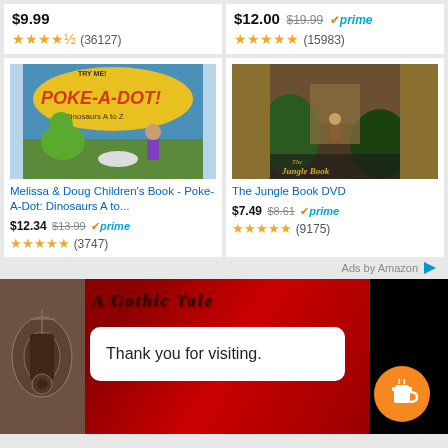$9.99 ★★★★½ (36127)
$12.00 $19.99 ✔prime ★★★★★ (15983)
[Figure (photo): Melissa & Doug Poke-A-Dot Dinosaurs A to Z children's book cover]
Melissa & Doug Children's Book - Poke-A-Dot: Dinosaurs A to...
$12.34 $13.99 ✔prime ★★★★★ (3747)
[Figure (photo): The Jungle Book DVD cover]
The Jungle Book DVD
$7.49 $8.61 ✔prime ★★★★★ (9175)
Ads by Amazon ▷
[Figure (screenshot): A Gothic Tale banner with red and dark background showing ornate silver decorative element on left, gothic text 'A Gothic Tale', a white rounded popup box saying 'Thank you for visiting.' and an orange circular coffee cup button on the right]
Thank you for visiting.